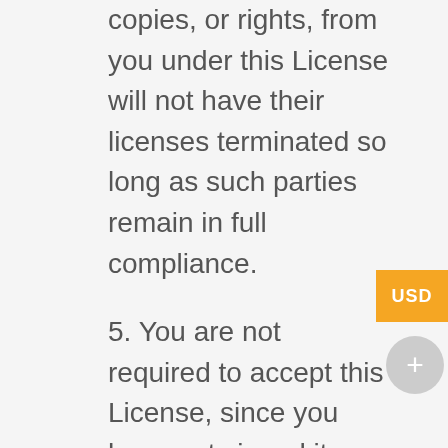copies, or rights, from you under this License will not have their licenses terminated so long as such parties remain in full compliance.
5. You are not required to accept this License, since you have not signed it. However, nothing else grants you permission to modify or distribute the Program or its derivative works. These actions are prohibited by law if you do not accept this License. Therefore, by modifying or distributing the Program (or any work based on the Program), you indicate your acceptance of this License to do so, and all its terms and conditions for copying, distributing or modifying the Program or works based on it.
6. Each time you redistribute the Program (or any work based on the Program), the recipient automatically receives a license from the